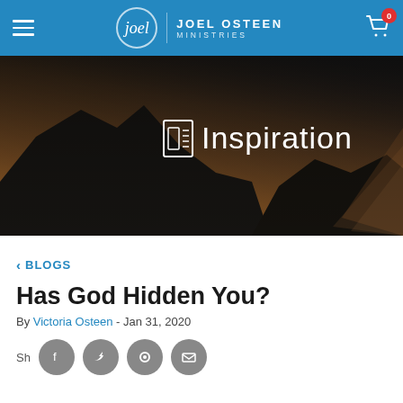Joel Osteen Ministries
[Figure (photo): Dark mountain landscape with dramatic light rays at horizon, serving as hero banner background]
Inspiration
< BLOGS
Has God Hidden You?
By Victoria Osteen - Jan 31, 2020
Share